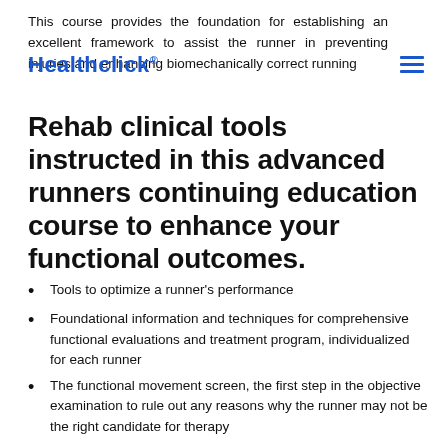This course provides the foundation for establishing an excellent framework to assist the runner in preventing injuries and enhancing biomechanically correct running
Healthclick®
Rehab clinical tools instructed in this advanced runners continuing education course to enhance your functional outcomes.
Tools to optimize a runner's performance
Foundational information and techniques for comprehensive functional evaluations and treatment program, individualized for each runner
The functional movement screen, the first step in the objective examination to rule out any reasons why the runner may not be the right candidate for therapy
Essential techniques to mastering a subjective examination to determine the direction of the examination